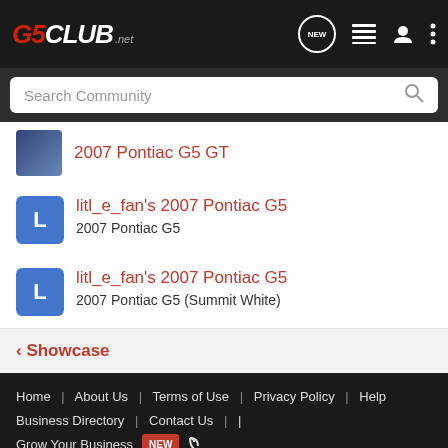G5CLUB.net
Search Community
2007 Pontiac G5 GT
litl_e_fan's 2007 Pontiac G5 — 2007 Pontiac G5
litl_e_fan's 2007 Pontiac G5 — 2007 Pontiac G5 (Summit White)
< Showcase
Home | About Us | Terms of Use | Privacy Policy | Help | Business Directory | Contact Us | Grow Your Business NEW | VerticalScope Inc. 111 Peter Street Suite 600, Toronto